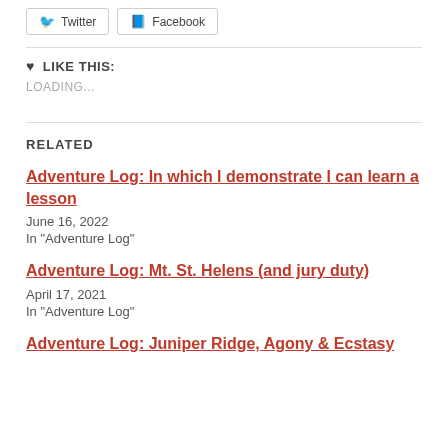[Figure (other): Social share buttons: Twitter and Facebook]
LIKE THIS:
LOADING...
RELATED
Adventure Log: In which I demonstrate I can learn a lesson
June 16, 2022
In "Adventure Log"
Adventure Log: Mt. St. Helens (and jury duty)
April 17, 2021
In "Adventure Log"
Adventure Log: Juniper Ridge, Agony & Ecstasy